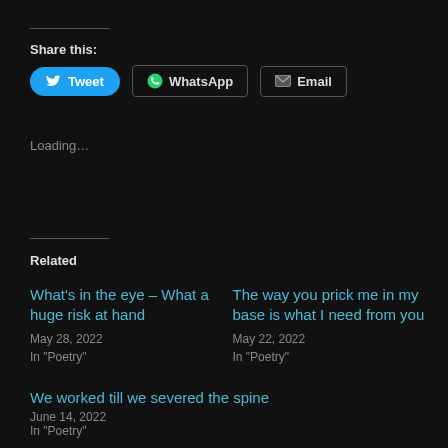Share this:
Tweet | WhatsApp | Email
Loading…
Related
What's in the eye – What a huge risk at hand
May 28, 2022
In "Poetry"
The way you prick me in my base is what I need from you
May 22, 2022
In "Poetry"
We worked till we severed the spine
June 14, 2022
In "Poetry"